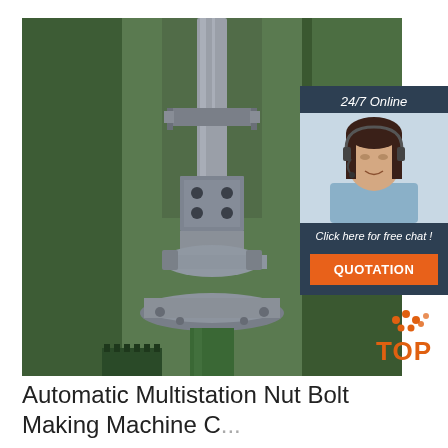[Figure (photo): Close-up photo of an industrial nut bolt making machine component — green painted metal body with a steel ram/punch assembly and circular die holder base, photographed in a factory setting.]
[Figure (infographic): Overlay chat widget: dark blue/slate background with '24/7 Online' header in italic white, a photo of a female customer service agent wearing a headset and smiling, text 'Click here for free chat !' in white italic, and an orange button labeled 'QUOTATION'.]
[Figure (logo): TOP logo: orange/red dots arranged in a triangle above the word TOP in orange bold letters.]
Automatic Multistation Nut Bolt Making Machine C...